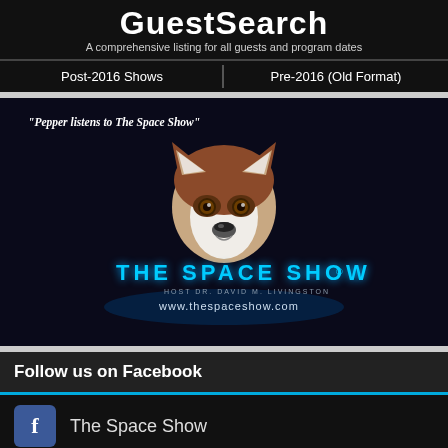GuestSearch
A comprehensive listing for all guests and program dates
Post-2016 Shows
Pre-2016 (Old Format)
[Figure (photo): The Space Show promotional image featuring a Siberian Husky dog with the text 'Pepper listens to The Space Show', THE SPACE SHOW logo, HOST DR. DAVID M. LIVINGSTON, and www.thespaceshow.com]
Follow us on Facebook
The Space Show